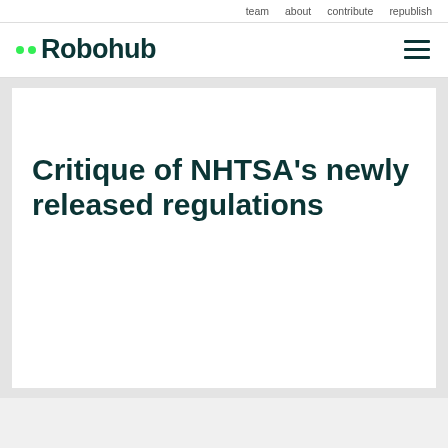team  about  contribute  republish
[Figure (logo): Robohub logo with two green dots and dark teal text reading 'Robohub', with hamburger menu icon on the right]
Critique of NHTSA's newly released regulations